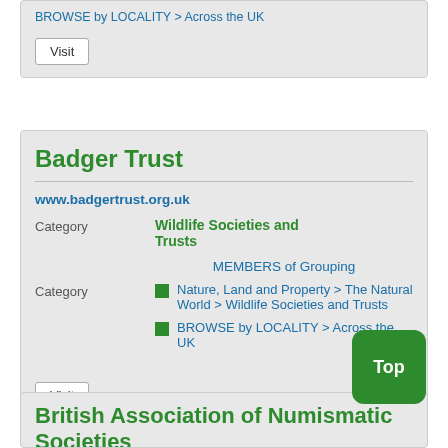BROWSE by LOCALITY > Across the UK
Visit
Badger Trust
www.badgertrust.org.uk
Category   Wildlife Societies and Trusts
MEMBERS of Grouping
Nature, Land and Property > The Natural World > Wildlife Societies and Trusts
BROWSE by LOCALITY > Across the UK
Visit
British Association of Numismatic Societies